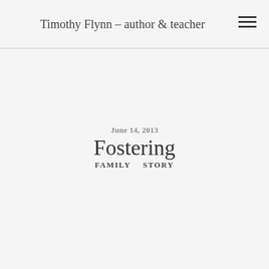Timothy Flynn – author & teacher
June 14, 2013
Fostering
FAMILY   STORY